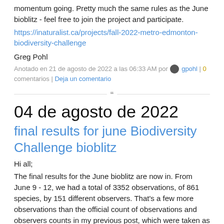momentum going. Pretty much the same rules as the June bioblitz - feel free to join the project and participate.
https://inaturalist.ca/projects/fall-2022-metro-edmonton-biodiversity-challenge
Greg Pohl
Anotado en 21 de agosto de 2022 a las 06:33 AM por gpohl | 0 comentarios | Deja un comentario
04 de agosto de 2022
final results for june Biodiversity Challenge bioblitz
Hi all;
The final results for the June bioblitz are now in. From June 9 - 12, we had a total of 3352 observations, of 861 species, by 151 different observers. That's a few more observations than the official count of observations and observers counts in my previous post, which were taken as of June 19 and used for the friendly competition with other municipalities. See